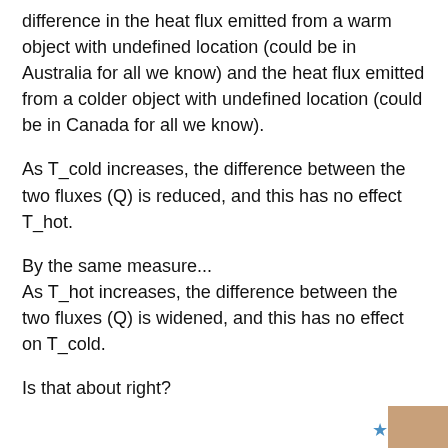difference in the heat flux emitted from a warm object with undefined location (could be in Australia for all we know) and the heat flux emitted from a colder object with undefined location (could be in Canada for all we know).
As T_cold increases, the difference between the two fluxes (Q) is reduced, and this has no effect T_hot.
By the same measure...
As T_hot increases, the difference between the two fluxes (Q) is widened, and this has no effect on T_cold.
Is that about right?